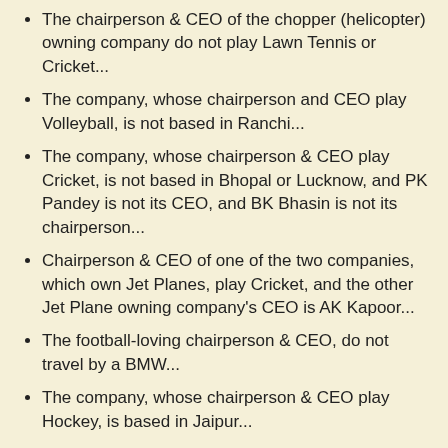The chairperson & CEO of the chopper (helicopter) owning company do not play Lawn Tennis or Cricket...
The company, whose chairperson and CEO play Volleyball, is not based in Ranchi...
The company, whose chairperson & CEO play Cricket, is not based in Bhopal or Lucknow, and PK Pandey is not its CEO, and BK Bhasin is not its chairperson...
Chairperson & CEO of one of the two companies, which own Jet Planes, play Cricket, and the other Jet Plane owning company's CEO is AK Kapoor...
The football-loving chairperson & CEO, do not travel by a BMW...
The company, whose chairperson & CEO play Hockey, is based in Jaipur...
Now, can you guys tell me the names of the chairpersons and CEOs of each company, the name of